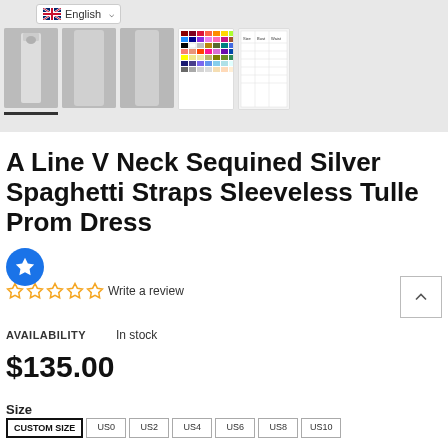[Figure (screenshot): Product image thumbnails showing a silver dress from multiple angles, a color swatch chart, and a size chart image]
A Line V Neck Sequined Silver Spaghetti Straps Sleeveless Tulle Prom Dress
Write a review
AVAILABILITY   In stock
$135.00
Size
CUSTOM SIZE  US0  US2  US4  US6  US8  US10